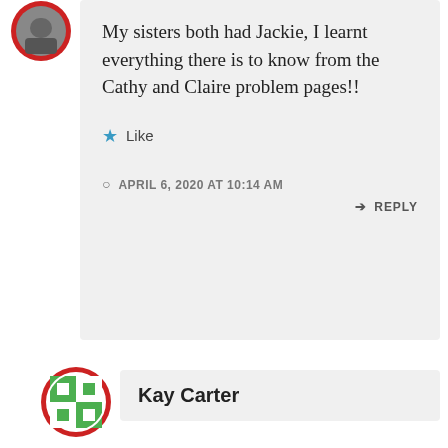[Figure (illustration): Circular avatar with red border, partial view at top left of page]
My sisters both had Jackie, I learnt everything there is to know from the Cathy and Claire problem pages!!
Like
APRIL 6, 2020 AT 10:14 AM
REPLY
[Figure (illustration): Circular avatar with red border and green/white geometric pattern inside]
Kay Carter